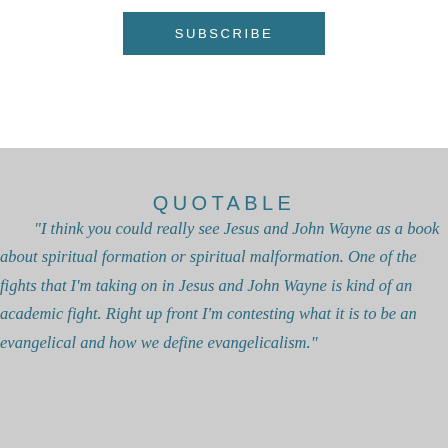SUBSCRIBE
QUOTABLE
“I think you could really see Jesus and John Wayne as a book about spiritual formation or spiritual malformation. One of the fights that I’m taking on in Jesus and John Wayne is kind of an academic fight. Right up front I’m contesting what it is to be an evangelical and how we define evangelicalism.”